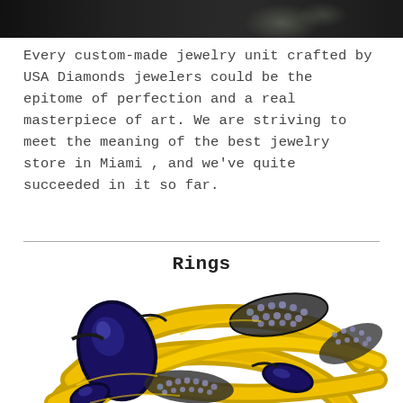[Figure (photo): Top portion of a decorative jewelry/floral image against dark background, cropped at top of page]
Every custom-made jewelry unit crafted by USA Diamonds jewelers could be the epitome of perfection and a real masterpiece of art. We are striving to meet the meaning of the best jewelry store in Miami , and we've quite succeeded in it so far.
Rings
[Figure (photo): Close-up photo of an ornate gold ring with large blue sapphire stones and smaller blue/grey diamond accent stones set in dark metal, artistic floral-style design]